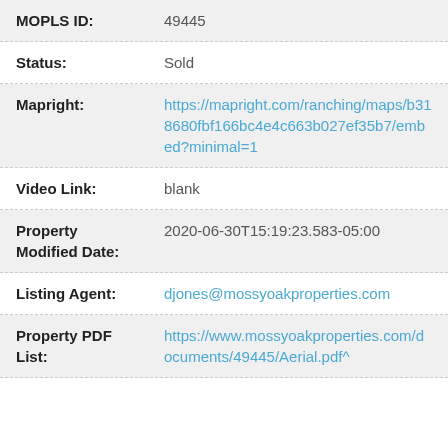| Field | Value |
| --- | --- |
| MOPLS ID: | 49445 |
| Status: | Sold |
| Mapright: | https://mapright.com/ranching/maps/b318680fbf166bc4e4c663b027ef35b7/embed?minimal=1 |
| Video Link: | blank |
| Property Modified Date: | 2020-06-30T15:19:23.583-05:00 |
| Listing Agent: | djones@mossyoakproperties.com |
| Property PDF List: | https://www.mossyoakproperties.com/documents/49445/Aerial.pdf^ |